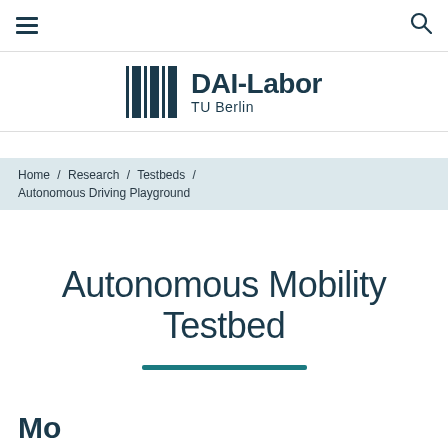≡  [hamburger menu]  [search icon]
[Figure (logo): DAI-Labor TU Berlin logo with barcode-style vertical bars graphic on the left and 'DAI-Labor TU Berlin' text on the right]
Home / Research / Testbeds / Autonomous Driving Playground
Autonomous Mobility Testbed